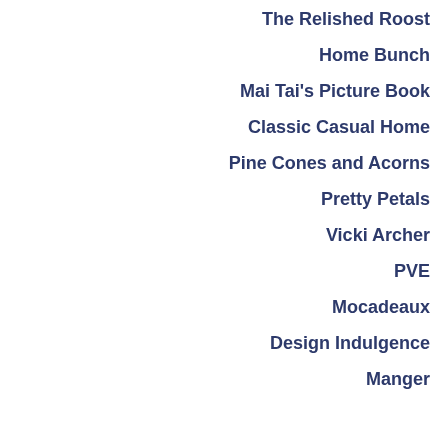The Relished Roost
Home Bunch
Mai Tai's Picture Book
Classic Casual Home
Pine Cones and Acorns
Pretty Petals
Vicki Archer
PVE
Mocadeaux
Design Indulgence
Manger